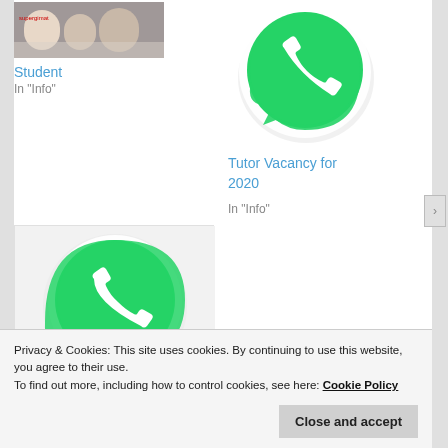[Figure (photo): Student photo thumbnail showing two people]
Student
In "Info"
[Figure (logo): WhatsApp logo - green speech bubble with phone icon]
Tutor Vacancy for 2020
In "Info"
[Figure (logo): WhatsApp logo - green speech bubble with phone icon]
Privacy & Cookies: This site uses cookies. By continuing to use this website, you agree to their use.
To find out more, including how to control cookies, see here: Cookie Policy
Close and accept